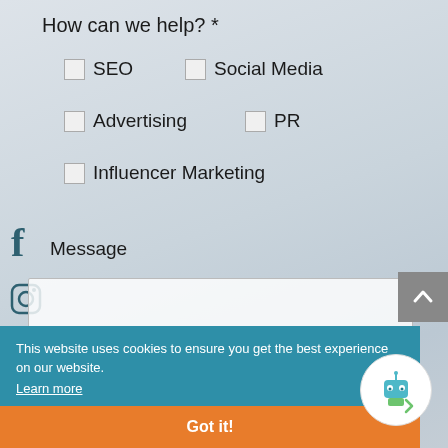How can we help? *
SEO
Social Media
Advertising
PR
Influencer Marketing
Message
[Figure (screenshot): reCAPTCHA widget with checkbox labeled I'm not a robot, reCAPTCHA logo, Privacy and Terms links]
[Figure (other): Social media icons: Facebook, Instagram, Twitter, WhatsApp, LinkedIn on left side]
[Figure (other): Back to top button (grey arrow up)]
Submit
This website uses cookies to ensure you get the best experience on our website.
Learn more
Got it!
[Figure (illustration): AI bot chatbot icon in white circle in bottom right corner]